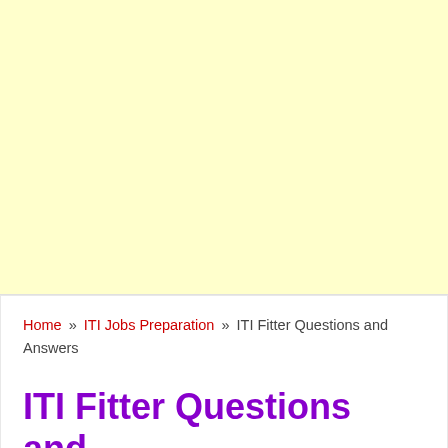[Figure (other): Light yellow advertisement banner placeholder area]
Home » ITI Jobs Preparation » ITI Fitter Questions and Answers
ITI Fitter Questions and